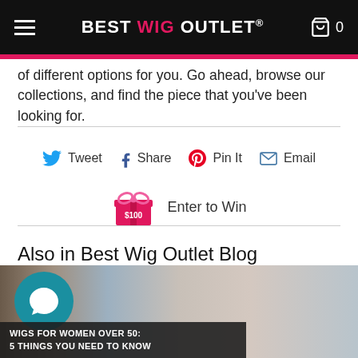BEST WIG OUTLET
of different options for you. Go ahead, browse our collections, and find the piece that you've been looking for.
[Figure (infographic): Social share buttons: Tweet (Twitter icon), Share (Facebook icon), Pin It (Pinterest icon), Email (email envelope icon)]
[Figure (infographic): Gift box icon with $100 label and 'Enter to Win' text]
Also in Best Wig Outlet Blog
[Figure (photo): Blog post thumbnail showing a woman with silver/grey hair outdoors, with a teal chat bubble icon overlay and a dark caption bar reading 'WIGS FOR WOMEN OVER 50: 5 THINGS YOU NEED TO KNOW']